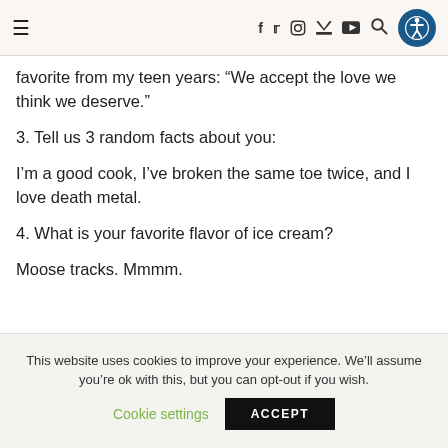≡  f  twitter  instagram  youtube  🔍  accessibility icon
favorite from my teen years: “We accept the love we think we deserve.”
3. Tell us 3 random facts about you:
I’m a good cook, I’ve broken the same toe twice, and I love death metal.
4. What is your favorite flavor of ice cream?
Moose tracks. Mmmm.
This website uses cookies to improve your experience. We’ll assume you’re ok with this, but you can opt-out if you wish.
Cookie settings  ACCEPT